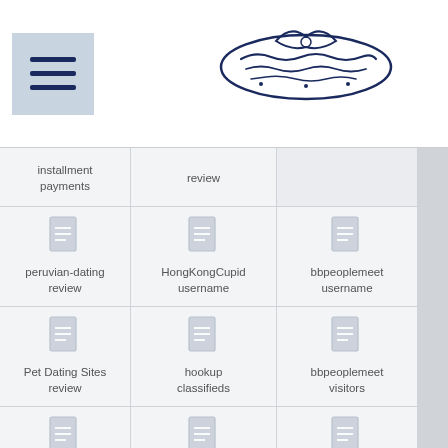Navigation menu and logo header
| installment payments | review |  |
| peruvian-dating review | HongKongCupid username | bbpeoplemeet username |
| Pet Dating Sites review | hookup classifieds | bbpeoplemeet visitors |
| Pet Dating Sites username | Hookup dating sites ranking | BBW Dating service |
|  | hookup hookup | BBW Dating username |